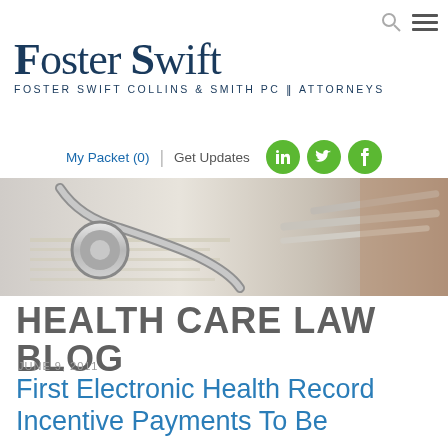Foster Swift Collins & Smith PC | Attorneys
[Figure (logo): Foster Swift law firm logo with large serif text 'Foster Swift' and subtitle 'FOSTER SWIFT COLLINS & SMITH PC | ATTORNEYS']
My Packet (0) | Get Updates
[Figure (illustration): Hero image showing a stethoscope and medical instruments on paper documents, in grayscale/muted tones]
HEALTH CARE LAW BLOG
JUNE 9, 2011
First Electronic Health Record Incentive Payments To Be